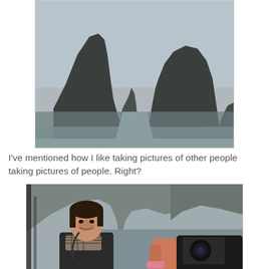[Figure (photo): Scenic view of tall limestone karst rock formations rising from calm water, viewed from a boat. Overcast sky. Two large rock pillars frame a narrow channel of water leading into the distance.]
I've mentioned how I like taking pictures of other people taking pictures of people. Right?
[Figure (photo): A smiling woman in a dark jacket and plaid scarf poses for a photo on a boat. In the foreground, a hand holding a black camera is visible, taking the photo. Limestone rock formations and water visible in the background.]